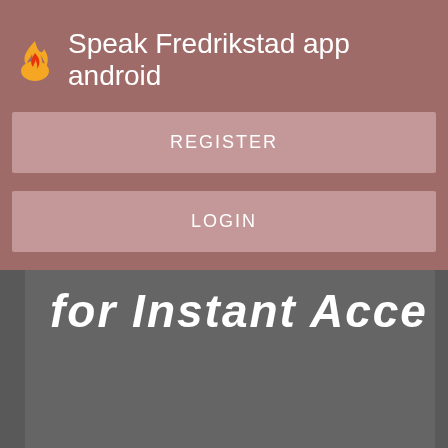Speak Fredrikstad app android
REGISTER
LOGIN
CONTACT US
[Figure (screenshot): Partial screenshot of app background showing text 'for Instant Acce' in large white italic bold font on dark gray background]